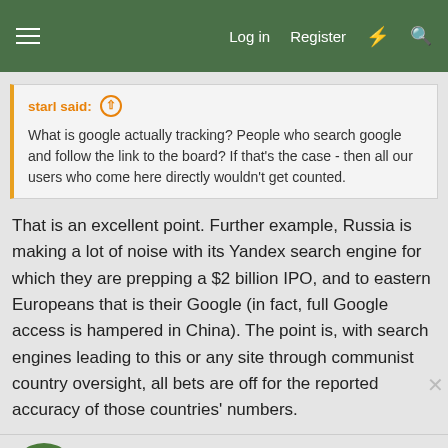Log in  Register
starl said:
What is google actually tracking? People who search google and follow the link to the board? If that's the case - then all our users who come here directly wouldn't get counted.
That is an excellent point. Further example, Russia is making a lot of noise with its Yandex search engine for which they are prepping a $2 billion IPO, and to eastern Europeans that is their Google (in fact, full Google access is hampered in China). The point is, with search engines leading to this or any site through communist country oversight, all bets are off for the reported accuracy of those countries' numbers.
sailepaty
Active Member
Jul 15, 20...
#6